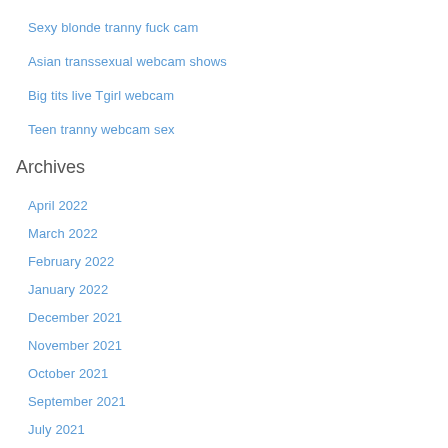Sexy blonde tranny fuck cam
Asian transsexual webcam shows
Big tits live Tgirl webcam
Teen tranny webcam sex
Archives
April 2022
March 2022
February 2022
January 2022
December 2021
November 2021
October 2021
September 2021
July 2021
June 2021
February 2021